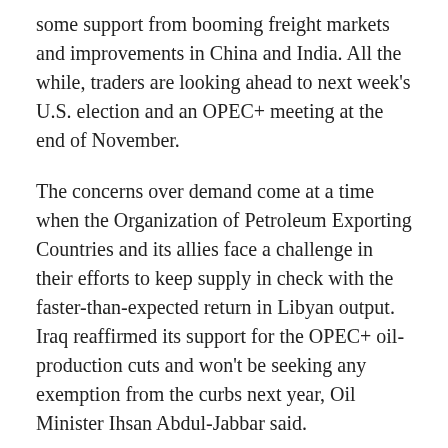some support from booming freight markets and improvements in China and India. All the while, traders are looking ahead to next week's U.S. election and an OPEC+ meeting at the end of November.
The concerns over demand come at a time when the Organization of Petroleum Exporting Countries and its allies face a challenge in their efforts to keep supply in check with the faster-than-expected return in Libyan output. Iraq reaffirmed its support for the OPEC+ oil-production cuts and won't be seeking any exemption from the curbs next year, Oil Minister Ihsan Abdul-Jabbar said.
Meanwhile, Norway's largest oil field will pump at pre-Covid levels after receiving the government's permission last month.